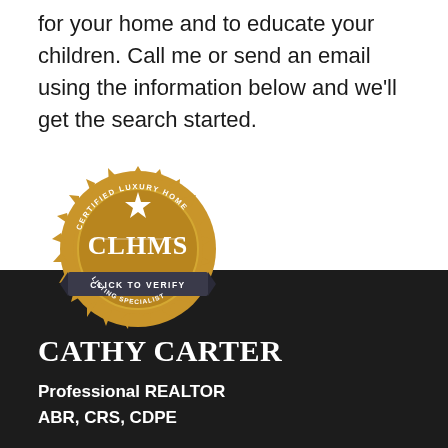for your home and to educate your children. Call me or send an email using the information below and we'll get the search started.
[Figure (logo): CLHMS (Certified Luxury Home Marketing Specialist) badge/seal with gold color and 'CLICK TO VERIFY' banner]
CATHY CARTER
Professional REALTOR
ABR, CRS, CDPE